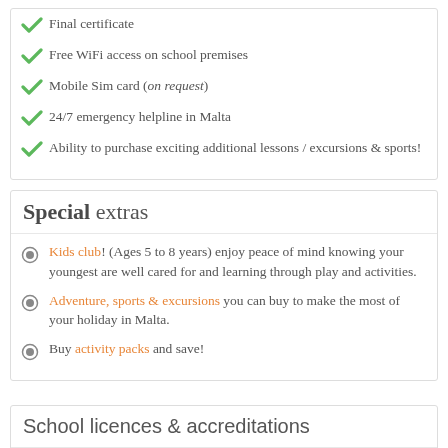Final certificate
Free WiFi access on school premises
Mobile Sim card (on request)
24/7 emergency helpline in Malta
Ability to purchase exciting additional lessons / excursions & sports!
Special extras
Kids club! (Ages 5 to 8 years) enjoy peace of mind knowing your youngest are well cared for and learning through play and activities.
Adventure, sports & excursions you can buy to make the most of your holiday in Malta.
Buy activity packs and save!
School licences & accreditations